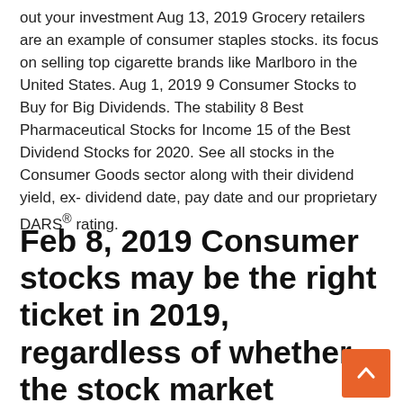out your investment Aug 13, 2019 Grocery retailers are an example of consumer staples stocks. its focus on selling top cigarette brands like Marlboro in the United States. Aug 1, 2019 9 Consumer Stocks to Buy for Big Dividends. The stability 8 Best Pharmaceutical Stocks for Income 15 of the Best Dividend Stocks for 2020. See all stocks in the Consumer Goods sector along with their dividend yield, ex- dividend date, pay date and our proprietary DARS® rating.
Feb 8, 2019 Consumer stocks may be the right ticket in 2019, regardless of whether the stock market rebounds from its lousy 2018 finish. These are 10 top